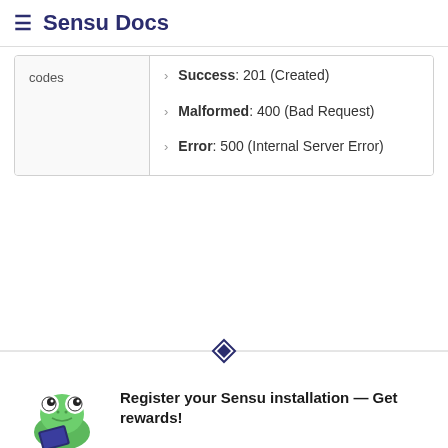≡ Sensu Docs
|  |  |
| --- | --- |
| codes | Success: 201 (Created)
Malformed: 400 (Bad Request)
Error: 500 (Internal Server Error) |
[Figure (illustration): Sensu diamond-shaped logo icon centered on a horizontal divider line]
[Figure (illustration): Cartoon frog mascot holding a book/card, next to promotional text]
Register your Sensu installation — Get rewards!